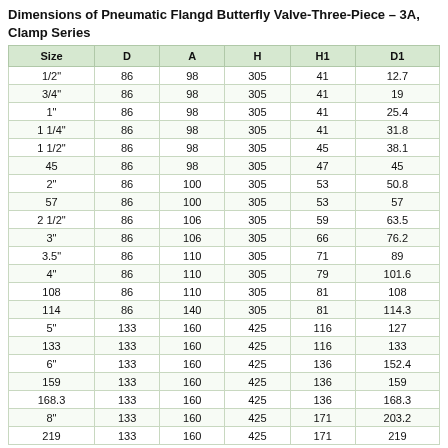Dimensions of Pneumatic Flangd Butterfly Valve-Three-Piece – 3A, Clamp Series
| Size | D | A | H | H1 | D1 |
| --- | --- | --- | --- | --- | --- |
| 1/2" | 86 | 98 | 305 | 41 | 12.7 |
| 3/4" | 86 | 98 | 305 | 41 | 19 |
| 1" | 86 | 98 | 305 | 41 | 25.4 |
| 1 1/4" | 86 | 98 | 305 | 41 | 31.8 |
| 1 1/2" | 86 | 98 | 305 | 45 | 38.1 |
| 45 | 86 | 98 | 305 | 47 | 45 |
| 2" | 86 | 100 | 305 | 53 | 50.8 |
| 57 | 86 | 100 | 305 | 53 | 57 |
| 2 1/2" | 86 | 106 | 305 | 59 | 63.5 |
| 3" | 86 | 106 | 305 | 66 | 76.2 |
| 3.5" | 86 | 110 | 305 | 71 | 89 |
| 4" | 86 | 110 | 305 | 79 | 101.6 |
| 108 | 86 | 110 | 305 | 81 | 108 |
| 114 | 86 | 140 | 305 | 81 | 114.3 |
| 5" | 133 | 160 | 425 | 116 | 127 |
| 133 | 133 | 160 | 425 | 116 | 133 |
| 6" | 133 | 160 | 425 | 136 | 152.4 |
| 159 | 133 | 160 | 425 | 136 | 159 |
| 168.3 | 133 | 160 | 425 | 136 | 168.3 |
| 8" | 133 | 160 | 425 | 171 | 203.2 |
| 219 | 133 | 160 | 425 | 171 | 219 |